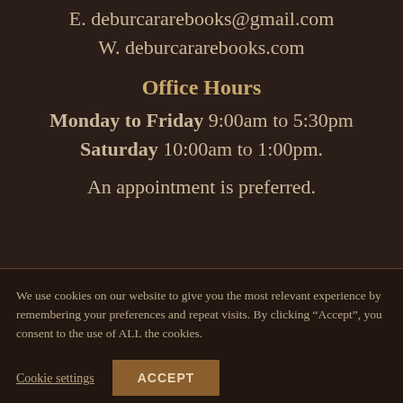E. deburcararebooks@gmail.com
W. deburcararebooks.com
Office Hours
Monday to Friday 9:00am to 5:30pm
Saturday 10:00am to 1:00pm.
An appointment is preferred.
We use cookies on our website to give you the most relevant experience by remembering your preferences and repeat visits. By clicking “Accept”, you consent to the use of ALL the cookies.
Cookie settings
ACCEPT